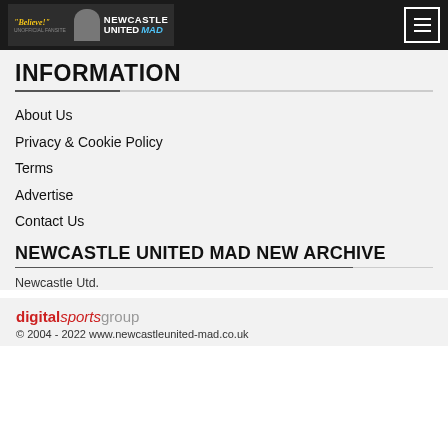Newcastle United Mad — UNOFFICIAL FANSITE
INFORMATION
About Us
Privacy & Cookie Policy
Terms
Advertise
Contact Us
NEWCASTLE UNITED MAD NEW ARCHIVE
Newcastle Utd.
digital sports group © 2004 - 2022 www.newcastleunited-mad.co.uk